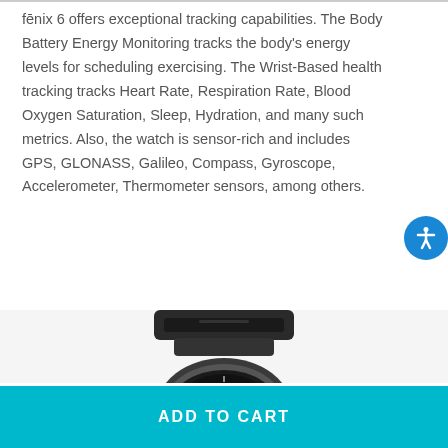fēnix 6 offers exceptional tracking capabilities. The Body Battery Energy Monitoring tracks the body's energy levels for scheduling exercising. The Wrist-Based health tracking tracks Heart Rate, Respiration Rate, Blood Oxygen Saturation, Sleep, Hydration, and many such metrics. Also, the watch is sensor-rich and includes GPS, GLONASS, Galileo, Compass, Gyroscope, Accelerometer, Thermometer sensors, among others.
[Figure (photo): Garmin fēnix 6 smartwatch shown from above, placed in a black charging dock/stand. The watch face shows a green accent color on the display.]
ADD TO CART